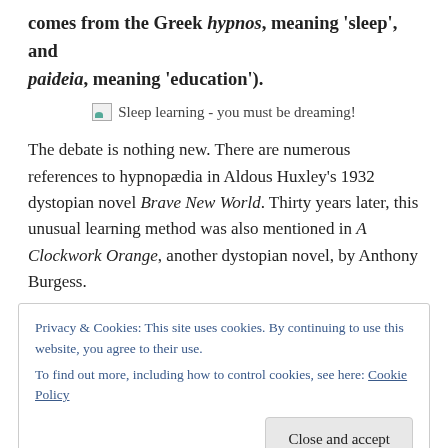comes from the Greek hypnos, meaning 'sleep', and paideia, meaning 'education').
[Figure (photo): Broken image placeholder with alt text 'Sleep learning - you must be dreaming!']
The debate is nothing new. There are numerous references to hypnopædia in Aldous Huxley's 1932 dystopian novel Brave New World. Thirty years later, this unusual learning method was also mentioned in A Clockwork Orange, another dystopian novel, by Anthony Burgess.
Privacy & Cookies: This site uses cookies. By continuing to use this website, you agree to their use.
To find out more, including how to control cookies, see here: Cookie Policy
Close and accept